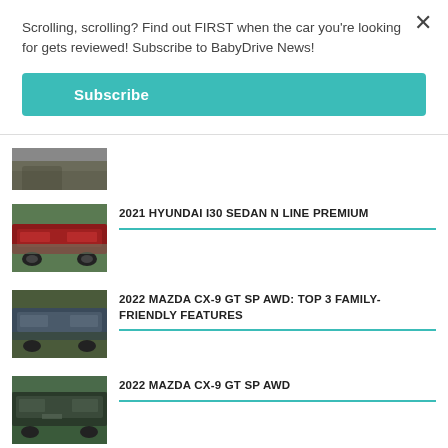Scrolling, scrolling? Find out FIRST when the car you're looking for gets reviewed! Subscribe to BabyDrive News!
Subscribe
[Figure (photo): Partial car thumbnail at top]
2021 HYUNDAI I30 SEDAN N LINE PREMIUM
[Figure (photo): Red Hyundai i30 Sedan N Line Premium car photo thumbnail]
2022 MAZDA CX-9 GT SP AWD: TOP 3 FAMILY-FRIENDLY FEATURES
[Figure (photo): Blue/grey Mazda CX-9 car photo thumbnail]
2022 MAZDA CX-9 GT SP AWD
[Figure (photo): Mazda CX-9 GT SP AWD car photo thumbnail]
2022 MAZDA CX-5: THREE FAMILY-FRIENDLY FEATURES
[Figure (photo): White Mazda CX-5 car photo thumbnail (partial)]